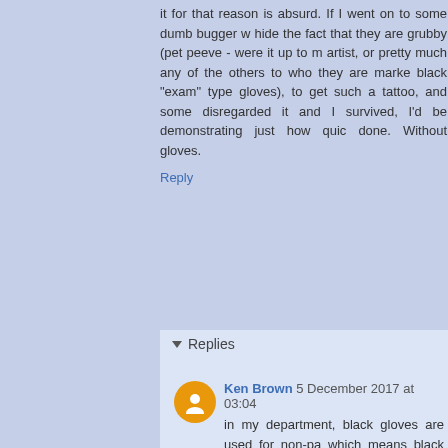it for that reason is absurd. If I went on to some dumb bugger who hide the fact that they are grubby (pet peeve - were it up to me artist, or pretty much any of the others to who they are marke black "exam" type gloves), to get such a tattoo, and some disregarded it and I survived, I'd be demonstrating just how quic done. Without gloves.
Reply
Replies
Ken Brown 5 December 2017 at 03:04
in my department, black gloves are used for non-pa which means black gloves can be disposed of in regula
oh, and if the medics feel you are a threat to them, th gloves. the good news, your odds of not receiving b manner will be greater.
as for your "I can remove a tattoo in seconds" it still does not remove the obligation to be sure a DNR
doug 5 December 2017 at 17:43
Try to catch the point as it whizzes by you. Someone